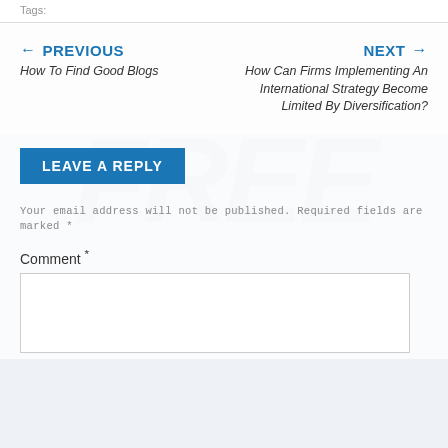Tags:
← PREVIOUS
How To Find Good Blogs
NEXT →
How Can Firms Implementing An International Strategy Become Limited By Diversification?
LEAVE A REPLY
Your email address will not be published. Required fields are marked *
Comment *